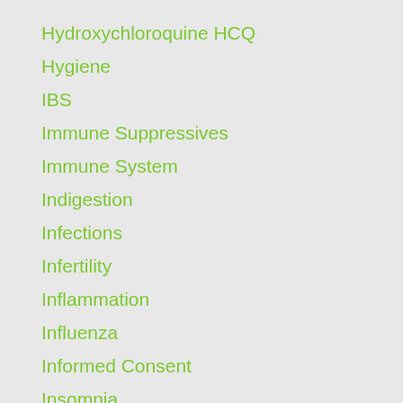Hydroxychloroquine HCQ
Hygiene
IBS
Immune Suppressives
Immune System
Indigestion
Infections
Infertility
Inflammation
Influenza
Informed Consent
Insomnia
Insulin
Irritable Bowel
Juicing
Ketogenic Diet
LCHF
Leaky Gut
Liver